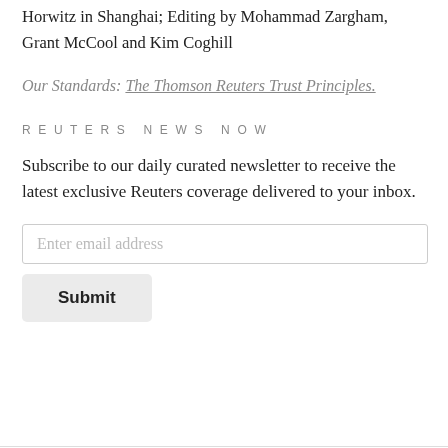Horwitz in Shanghai; Editing by Mohammad Zargham, Grant McCool and Kim Coghill
Our Standards: The Thomson Reuters Trust Principles.
REUTERS NEWS NOW
Subscribe to our daily curated newsletter to receive the latest exclusive Reuters coverage delivered to your inbox.
[Figure (other): Email input field with placeholder text 'Enter email address' and a Submit button]